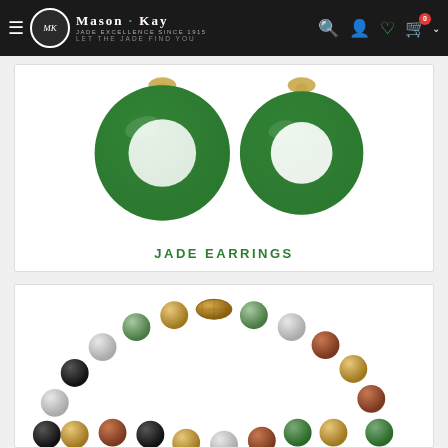Mason-Kay — Jade Excellence Since 1915 — Let The Jade Find You
[Figure (photo): Two green jade donut-shaped earrings with gold bail fittings, on white background]
JADE EARRINGS
[Figure (photo): Multicolor jade bead necklace with gold oval clasp, beads in green, white, black, yellow, and rust colors]